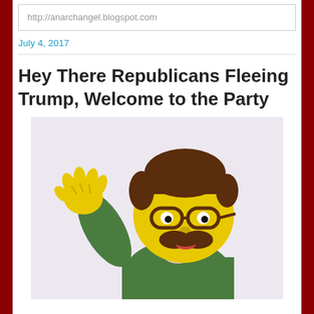http://anarchangel.blogspot.com
July 4, 2017
Hey There Republicans Fleeing Trump, Welcome to the Party
[Figure (illustration): Cartoon illustration of Ned Flanders from The Simpsons, waving with one hand raised, wearing a green sweater, with his distinctive mustache and glasses, set against a light lavender/white background.]